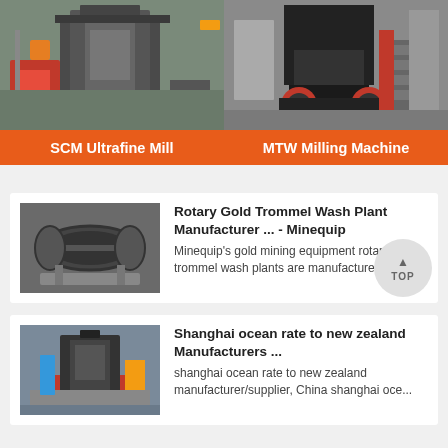[Figure (photo): Industrial SCM Ultrafine Mill machinery in factory setting]
SCM Ultrafine Mill
[Figure (photo): MTW Milling Machine large cone crusher in industrial facility]
MTW Milling Machine
[Figure (photo): Rotary gold trommel wash plant equipment thumbnail]
Rotary Gold Trommel Wash Plant Manufacturer ... - Minequip
Minequip's gold mining equipment rotary trommel wash plants are manufactured
[Figure (photo): Shanghai ocean rate machinery thumbnail showing industrial press]
Shanghai ocean rate to new zealand Manufacturers ...
shanghai ocean rate to new zealand manufacturer/supplier, China shanghai oce...